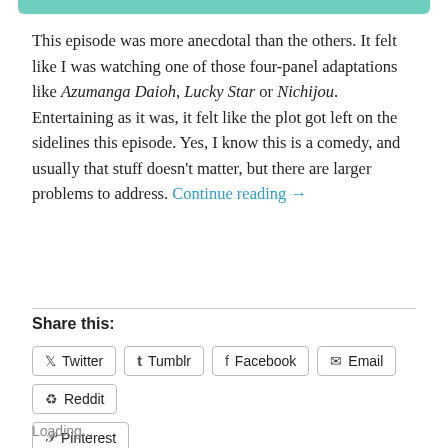[Figure (other): Teal/green decorative top bar strip]
This episode was more anecdotal than the others. It felt like I was watching one of those four-panel adaptations like Azumanga Daioh, Lucky Star or Nichijou. Entertaining as it was, it felt like the plot got left on the sidelines this episode. Yes, I know this is a comedy, and usually that stuff doesn't matter, but there are larger problems to address. Continue reading →
Share this:
Twitter
Tumblr
Facebook
Email
Reddit
Pinterest
Loading...